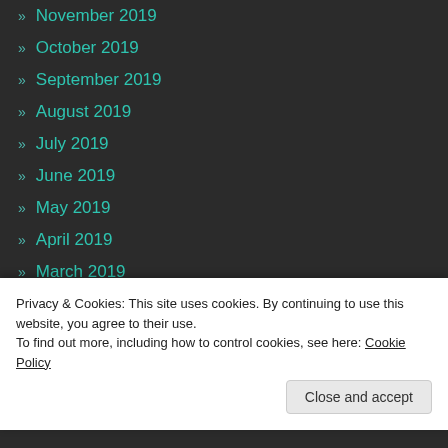» November 2019
» October 2019
» September 2019
» August 2019
» July 2019
» June 2019
» May 2019
» April 2019
» March 2019
» February 2019
» January 2019
Privacy & Cookies: This site uses cookies. By continuing to use this website, you agree to their use.
To find out more, including how to control cookies, see here: Cookie Policy
Close and accept